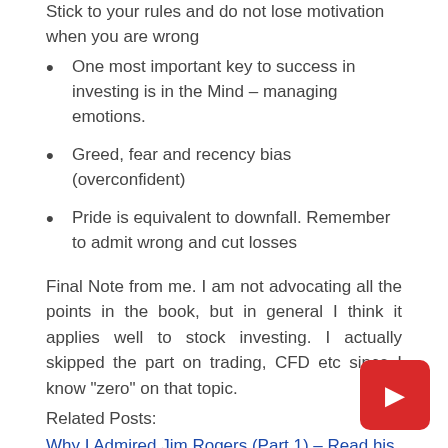Stick to your rules and do not lose motivation when you are wrong
One most important key to success in investing is in the Mind – managing emotions.
Greed, fear and recency bias (overconfident)
Pride is equivalent to downfall. Remember to admit wrong and cut losses
Final Note from me. I am not advocating all the points in the book, but in general I think it applies well to stock investing. I actually skipped the part on trading, CFD etc since I know “zero” on that topic.
Related Posts:
Why I Admired Jim Rogers (Part 1) – Read his Book “A Gift to My Chi…
Why I Admired Jim